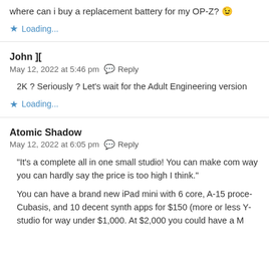where can i buy a replacement battery for my OP-Z? 😉
Loading...
John ][
May 12, 2022 at 5:46 pm  Reply
2K ? Seriously ? Let's wait for the Adult Engineering version
Loading...
Atomic Shadow
May 12, 2022 at 6:05 pm  Reply
“It’s a complete all in one small studio! You can make com… way you can hardly say the price is too high I think.”
You can have a brand new iPad mini with 6 core, A-15 proce… Cubasis, and 10 decent synth apps for $150 (more or less Y… studio for way under $1,000. At $2,000 you could have a M…